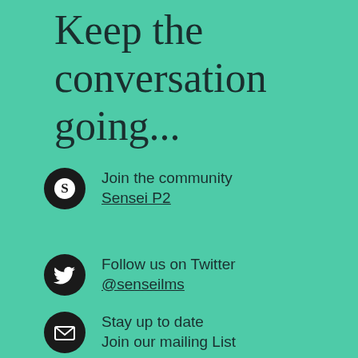Keep the conversation going...
Join the community
Sensei P2
Follow us on Twitter
@senseilms
Stay up to date
Join our mailing List